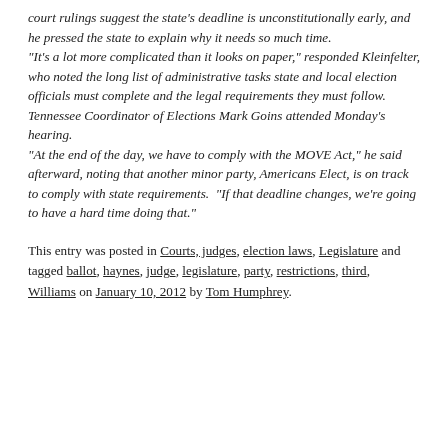court rulings suggest the state's deadline is unconstitutionally early, and he pressed the state to explain why it needs so much time. "It's a lot more complicated than it looks on paper," responded Kleinfelter, who noted the long list of administrative tasks state and local election officials must complete and the legal requirements they must follow. Tennessee Coordinator of Elections Mark Goins attended Monday's hearing. "At the end of the day, we have to comply with the MOVE Act," he said afterward, noting that another minor party, Americans Elect, is on track to comply with state requirements. "If that deadline changes, we're going to have a hard time doing that."
This entry was posted in Courts, judges, election laws, Legislature and tagged ballot, haynes, judge, legislature, party, restrictions, third, Williams on January 10, 2012 by Tom Humphrey.